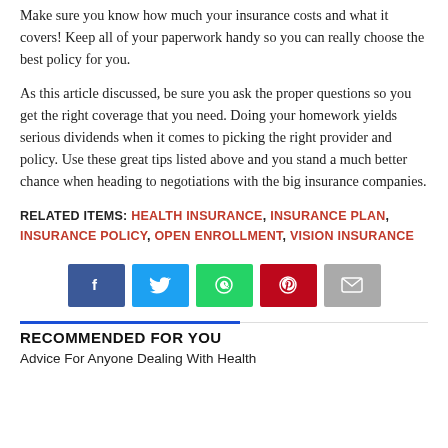Make sure you know how much your insurance costs and what it covers! Keep all of your paperwork handy so you can really choose the best policy for you.
As this article discussed, be sure you ask the proper questions so you get the right coverage that you need. Doing your homework yields serious dividends when it comes to picking the right provider and policy. Use these great tips listed above and you stand a much better chance when heading to negotiations with the big insurance companies.
RELATED ITEMS: HEALTH INSURANCE, INSURANCE PLAN, INSURANCE POLICY, OPEN ENROLLMENT, VISION INSURANCE
[Figure (other): Social sharing buttons: Facebook (blue), Twitter (light blue), WhatsApp (green), Pinterest (red), Email (gray)]
RECOMMENDED FOR YOU
Advice For Anyone Dealing With Health